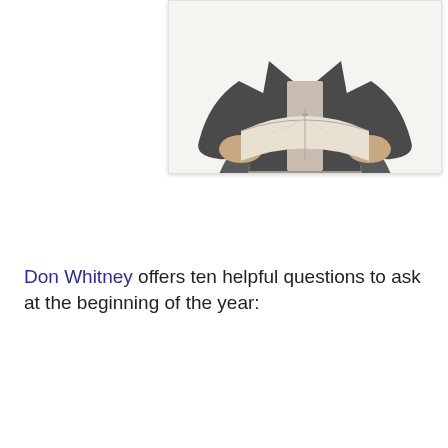[Figure (photo): Black and white photograph of a person (torso and hands visible) holding an open book, wearing a jacket and shirt]
Don Whitney offers ten helpful questions to ask at the beginning of the year: